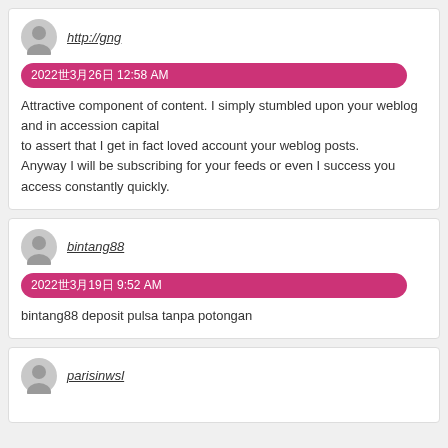http://gng
2022年3月26日 12:58 AM
Attractive component of content. I simply stumbled upon your weblog and in accession capital to assert that I get in fact loved account your weblog posts. Anyway I will be subscribing for your feeds or even I success you access constantly quickly.
bintang88
2022年3月19日 9:52 AM
bintang88 deposit pulsa tanpa potongan
parisinwsl